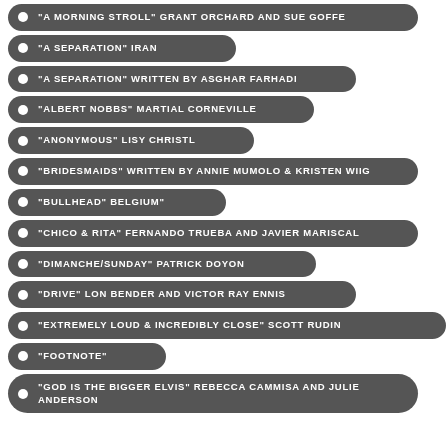"A MORNING STROLL" GRANT ORCHARD AND SUE GOFFE
"A SEPARATION" IRAN
"A SEPARATION" WRITTEN BY ASGHAR FARHADI
"ALBERT NOBBS" MARTIAL CORNEVILLE
"ANONYMOUS" LISY CHRISTL
"BRIDESMAIDS" WRITTEN BY ANNIE MUMOLO & KRISTEN WIIG
"BULLHEAD" BELGIUM"
"CHICO & RITA" FERNANDO TRUEBA AND JAVIER MARISCAL
"DIMANCHE/SUNDAY" PATRICK DOYON
"DRIVE" LON BENDER AND VICTOR RAY ENNIS
"EXTREMELY LOUD & INCREDIBLY CLOSE" SCOTT RUDIN
"FOOTNOTE"
"GOD IS THE BIGGER ELVIS" REBECCA CAMMISA AND JULIE ANDERSON